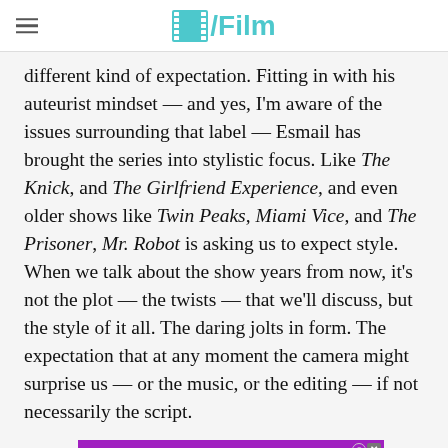/Film
different kind of expectation. Fitting in with his auteurist mindset — and yes, I'm aware of the issues surrounding that label — Esmail has brought the series into stylistic focus. Like The Knick, and The Girlfriend Experience, and even older shows like Twin Peaks, Miami Vice, and The Prisoner, Mr. Robot is asking us to expect style. When we talk about the show years from now, it's not the plot — the twists — that we'll discuss, but the style of it all. The daring jolts in form. The expectation that at any moment the camera might surprise us — or the music, or the editing — if not necessarily the script.
The fir[st season gave us a] taste of this[…]
[Figure (screenshot): Advertisement banner showing 'FIND A GIRLFRIEND' text in white on purple background with Clover branding and close button]